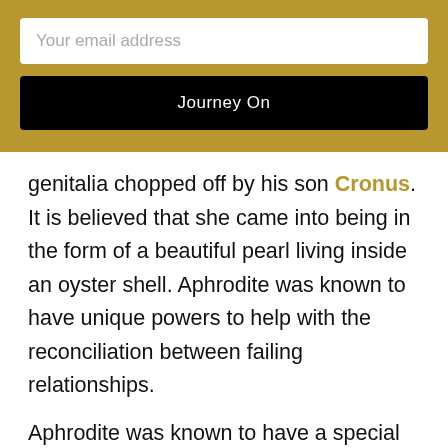Your email address
Journey On
genitalia chopped off by his son Cronus. It is believed that she came into being in the form of a beautiful pearl living inside an oyster shell. Aphrodite was known to have unique powers to help with the reconciliation between failing relationships.
Aphrodite was known to have a special belt or a magic girdle around her waist to